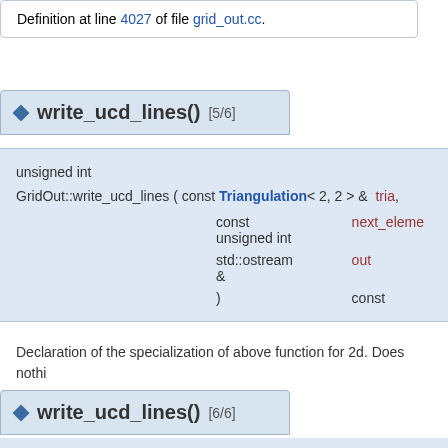Definition at line 4027 of file grid_out.cc.
write_ucd_lines() [5/6]
unsigned int GridOut::write_ucd_lines ( const Triangulation< 2, 2 > & tria, const unsigned int next_element, std::ostream & out ) const
Declaration of the specialization of above function for 2d. Does nothi
Definition at line 4036 of file grid_out.cc.
write_ucd_lines() [6/6]
unsigned int